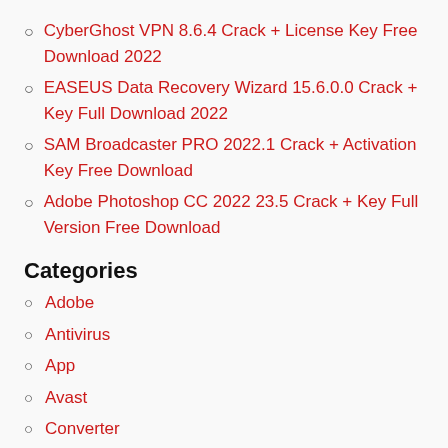CyberGhost VPN 8.6.4 Crack + License Key Free Download 2022
EASEUS Data Recovery Wizard 15.6.0.0 Crack + Key Full Download 2022
SAM Broadcaster PRO 2022.1 Crack + Activation Key Free Download
Adobe Photoshop CC 2022 23.5 Crack + Key Full Version Free Download
Categories
Adobe
Antivirus
App
Avast
Converter